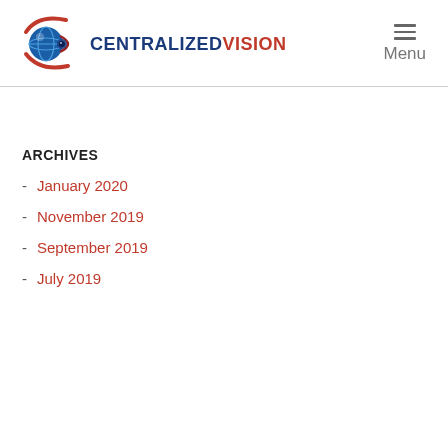CENTRALIZEDVISION | Menu
ARCHIVES
- January 2020
- November 2019
- September 2019
- July 2019